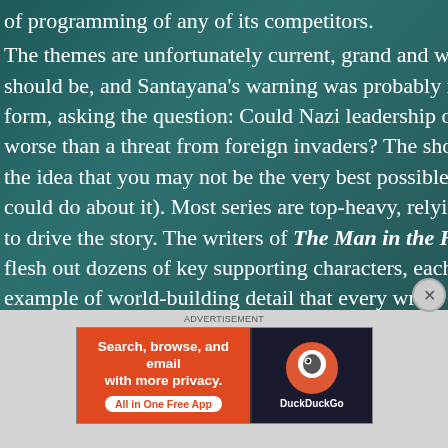of programming of any of its competitors. The themes are unfortunately current, grand and weighty like should be, and Santayana's warning was probably never better form, asking the question: Could Nazi leadership of the homeg worse than a threat from foreign invaders? The show also exp the idea that you may not be the very best possible version of y could do about it). Most series are top-heavy, relying too much to drive the story. The writers of The Man in the High Castle to flesh out dozens of key supporting characters, each one critica example of world-building detail that every writer should take they created gets nicely tied up by the final episode. The very creative character arcs on any series this decade happened he climactic scene is simply goosebump-inducing. The pool of ca TV actor and actress this year? They should begin with this se
[Figure (screenshot): DuckDuckGo advertisement banner: orange left side with text 'Search, browse, and email with more privacy. All in One Free App', dark right side with DuckDuckGo logo and text 'DuckDuckGo']